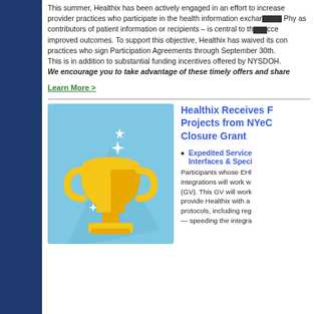This summer, Healthix has been actively engaged in an effort to increase provider practices who participate in the health information exchange. Physician practices – as contributors of patient information or recipients – is central to the success of HIEs to deliver improved outcomes. To support this objective, Healthix has waived its connection fee for practices who sign Participation Agreements through September 30th. This is in addition to substantial funding incentives offered by NYSDOH. We encourage you to take advantage of these timely offers and share…
Learn More >
[Figure (illustration): Golden trophy cup icon on a light blue background, with sparkle effects]
Healthix Receives Projects from NYeC Closure Grant
Expedited Service Interfaces & Special… Participants whose EHR integrations will work with (GV). This GV will work to provide Healthix with a protocols, including reg — speeding the integra…